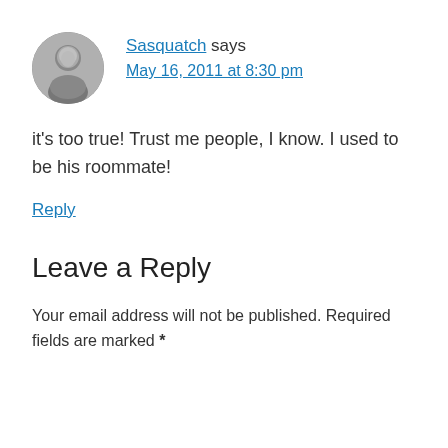[Figure (photo): Circular avatar photo of a young man in black and white]
Sasquatch says
May 16, 2011 at 8:30 pm
it's too true! Trust me people, I know. I used to be his roommate!
Reply
Leave a Reply
Your email address will not be published. Required fields are marked *